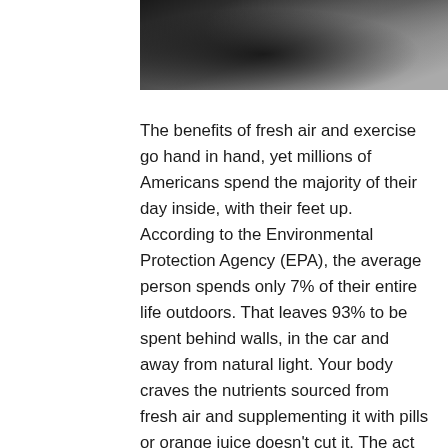[Figure (photo): Partial photo of what appears to be a person or animal in motion, dark tones with grey background, cropped at top of page]
The benefits of fresh air and exercise go hand in hand, yet millions of Americans spend the majority of their day inside, with their feet up. According to the Environmental Protection Agency (EPA), the average person spends only 7% of their entire life outdoors. That leaves 93% to be spent behind walls, in the car and away from natural light. Your body craves the nutrients sourced from fresh air and supplementing it with pills or orange juice doesn't cut it. The act of stepping outside for a walk or a ride